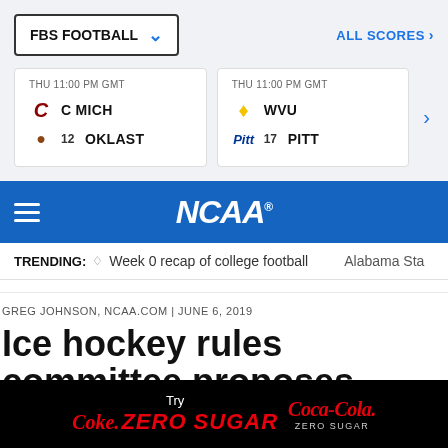[Figure (screenshot): FBS Football scores widget showing two game cards: C MICH vs OKLAST (12) and WVU vs PITT (17), both THU 11:00 PM GMT]
[Figure (logo): NCAA logo on blue header bar with hamburger menu]
TRENDING: 🏈 Week 0 recap of college football   Alabama Sta
GREG JOHNSON, NCAA.COM | JUNE 6, 2019
Ice hockey rules committee proposes
[Figure (screenshot): Coca-Cola Zero Sugar advertisement banner on black background]